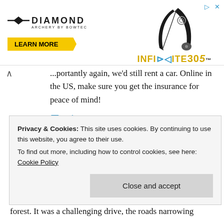[Figure (illustration): Diamond Archery advertisement banner featuring bow image, LEARN MORE button, and INFINITE 305 product name with play and close icons]
...portantly again, we'd still rent a car. Online in the US, make sure you get the insurance for peace of mind!
Taxi
If only in for the day on a cruise ship or not a comfortable driver, this is an easy option, but not the most cost effective. There are hundreds of drivers so it's not hard to get a ride.
forest. It was a challenging drive, the roads narrowing
Privacy & Cookies: This site uses cookies. By continuing to use this website, you agree to their use.
To find out more, including how to control cookies, see here: Cookie Policy